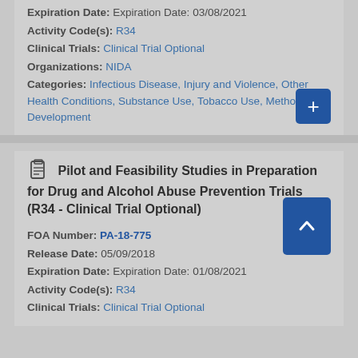Expiration Date: Expiration Date: 03/08/2021
Activity Code(s): R34
Clinical Trials: Clinical Trial Optional
Organizations: NIDA
Categories: Infectious Disease, Injury and Violence, Other Health Conditions, Substance Use, Tobacco Use, Methods Development
Pilot and Feasibility Studies in Preparation for Drug and Alcohol Abuse Prevention Trials (R34 - Clinical Trial Optional)
FOA Number: PA-18-775
Release Date: 05/09/2018
Expiration Date: Expiration Date: 01/08/2021
Activity Code(s): R34
Clinical Trials: Clinical Trial Optional